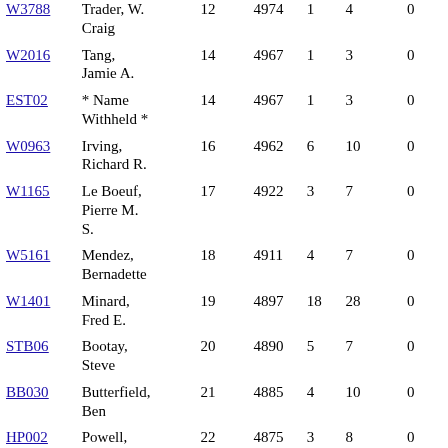| ID | Name | Rank | Points | Col1 | Col2 | Col3 |
| --- | --- | --- | --- | --- | --- | --- |
| W3788 | Trader, W. Craig | 12 | 4974 | 1 | 4 | 0 |
| W2016 | Tang, Jamie A. | 14 | 4967 | 1 | 3 | 0 |
| EST02 | * Name Withheld * | 14 | 4967 | 1 | 3 | 0 |
| W0963 | Irving, Richard R. | 16 | 4962 | 6 | 10 | 0 |
| W1165 | Le Boeuf, Pierre M. S. | 17 | 4922 | 3 | 7 | 0 |
| W5161 | Mendez, Bernadette | 18 | 4911 | 4 | 7 | 0 |
| W1401 | Minard, Fred E. | 19 | 4897 | 18 | 28 | 0 |
| STB06 | Bootay, Steve | 20 | 4890 | 5 | 7 | 0 |
| BB030 | Butterfield, Ben | 21 | 4885 | 4 | 10 | 0 |
| HP002 | Powell, Helen | 22 | 4875 | 3 | 8 | 0 |
| W1848 | Shambeda, Steven M. | 23 | 4801 | 38 | 73 | 0 |